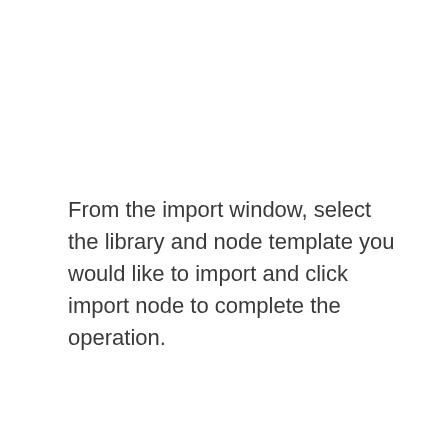From the import window, select the library and node template you would like to import and click import node to complete the operation.